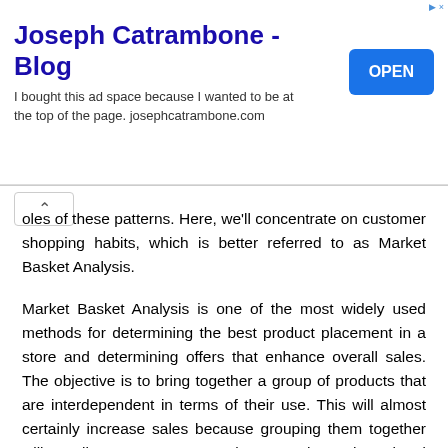[Figure (other): Advertisement banner for 'Joseph Catrambone - Blog' with an OPEN button. Text reads: 'I bought this ad space because I wanted to be at the top of the page. josephcatrambone.com']
oles of these patterns. Here, we'll concentrate on customer shopping habits, which is better referred to as Market Basket Analysis.
Market Basket Analysis is one of the most widely used methods for determining the best product placement in a store and determining offers that enhance overall sales. The objective is to bring together a group of products that are interdependent in terms of their use. This will almost certainly increase sales because grouping them together will recall or encourage people to purchase the related item. To tackle this, we create all feasible sets of product association rules and determine which ones are the most effective. Now the challenge is: how can we create and test these association rules to see how effective they are? The Apriori Algorithm is the answer.
We name it 'Apriori' because it finds relationships and patterns